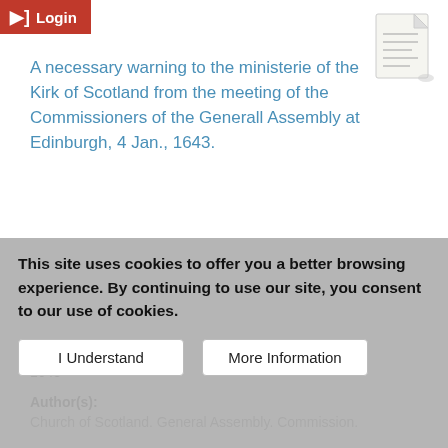Login
A necessary warning to the ministerie of the Kirk of Scotland from the meeting of the Commissioners of the Generall Assembly at Edinburgh, 4 Jan., 1643.
Date of publication:
1643
Author(s):
Church of Scotland. General Assembly. Commission.
Description:
Reproduction of original in Union Theological Seminary Library, New York. "A solemne fast and humiliation appointed by the Commissioners of the General Assembly p. 11-13
This site uses cookies to offer you a better browsing experience. By continuing to use our site, you consent to our use of cookies.
I Understand
More Information